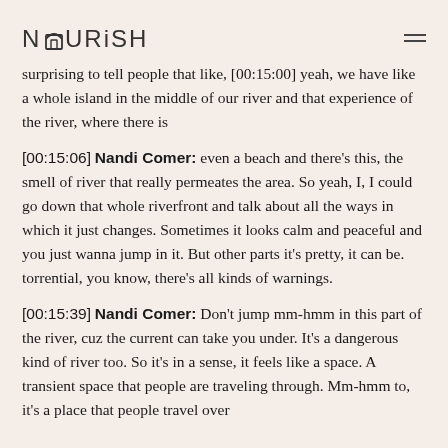NOURISH
surprising to tell people that like, [00:15:00] yeah, we have like a whole island in the middle of our river and that experience of the river, where there is
[00:15:06] Nandi Comer: even a beach and there’s this, the smell of river that really permeates the area. So yeah, I, I could go down that whole riverfront and talk about all the ways in which it just changes. Sometimes it looks calm and peaceful and you just wanna jump in it. But other parts it’s pretty, it can be. torrential, you know, there’s all kinds of warnings.
[00:15:39] Nandi Comer: Don’t jump mm-hmm in this part of the river, cuz the current can take you under. It’s a dangerous kind of river too. So it’s in a sense, it feels like a space. A transient space that people are traveling through. Mm-hmm to, it’s a place that people travel over